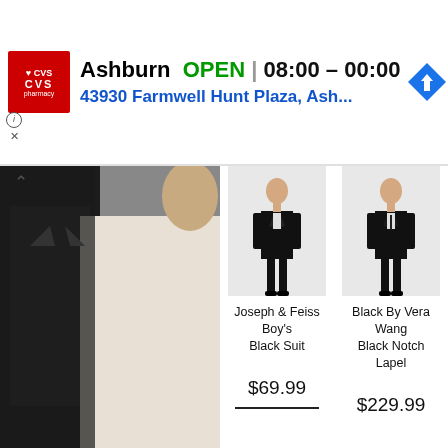[Figure (screenshot): CVS Pharmacy advertisement banner showing Ashburn location OPEN 08:00–00:00, address 43930 Farmwell Hunt Plaza, Ash...]
[Figure (photo): Wedding photo showing a man in black suit and woman in white wedding dress holding flowers, partially visible]
Joseph & Feiss Boy's Black Suit
$69.99
Black By Vera Wang Black Notch Lapel
$229.99
ARHIIV
Vali kuu